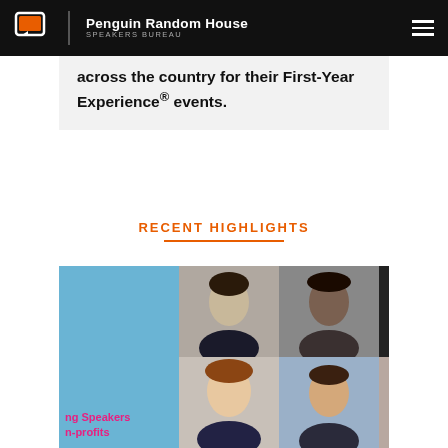Penguin Random House SPEAKERS BUREAU
across the country for their First-Year Experience® events.
RECENT HIGHLIGHTS
[Figure (photo): Collage of speaker headshots with text overlay reading 'ng Speakers n-profits' on a blue background, showing 5 speakers in a 2x3 grid layout.]